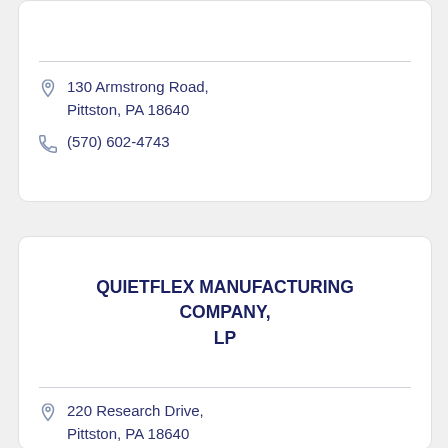130 Armstrong Road, Pittston, PA 18640
(570) 602-4743
QUIETFLEX MANUFACTURING COMPANY, LP
220 Research Drive, Pittston, PA 18640